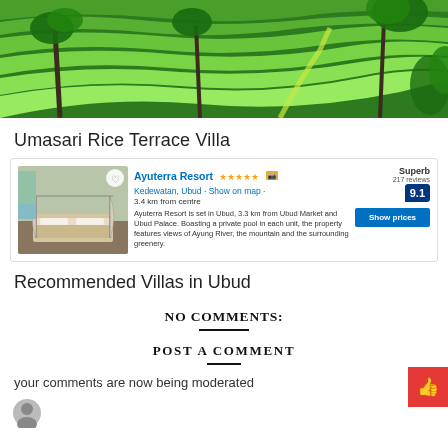[Figure (photo): Aerial view of green rice terraces with palm trees]
Umasari Rice Terrace Villa
[Figure (screenshot): Booking.com listing card for Ayuterra Resort showing hotel image, 5 stars, location in Kedewatan Ubud, 3.4 km from centre, description text, Superb rating 9.1 with 217 reviews, and Show prices button]
Recommended Villas in Ubud
NO COMMENTS:
POST A COMMENT
your comments are now being moderated